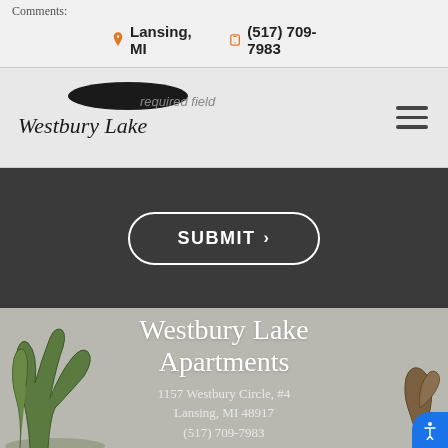Comments:
Lansing, MI   (517) 709-7983
[Figure (logo): Westbury Lake script logo with decorative hill/arc above text]
required field
SUBMIT >
Westbury Lake Apartments
1157 Westbury Circle, #4
Lansing, MI 48917
(517) 709-7983